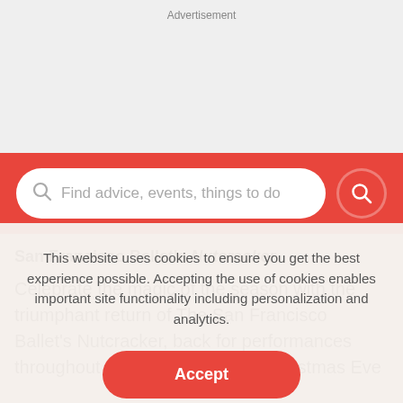Advertisement
[Figure (screenshot): Red search bar with white rounded input field containing a search icon and placeholder text 'Find advice, events, things to do', and a red circular search button on the right]
San Francisco Ballet's Nutcracker
Celebrate the magic of the season with the triumphant return of The San Francisco Ballet's Nutcracker, back for performances throughout December. Set at a Christmas Eve
This website uses cookies to ensure you get the best experience possible. Accepting the use of cookies enables important site functionality including personalization and analytics.
Accept
Decline